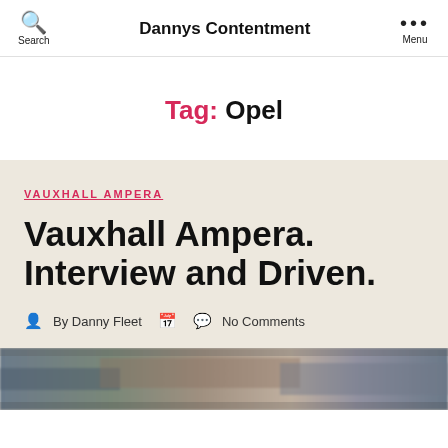Search | Dannys Contentment | Menu
Tag: Opel
VAUXHALL AMPERA
Vauxhall Ampera. Interview and Driven.
By Danny Fleet  No Comments
[Figure (photo): Blurred motion photo of a car, appearing to be the Vauxhall Ampera in motion]